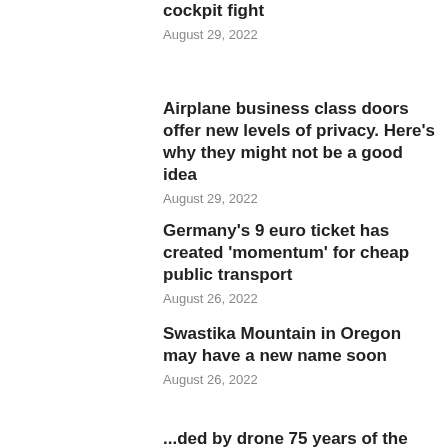cockpit fight
August 29, 2022
Airplane business class doors offer new levels of privacy. Here's why they might not be a good idea
August 29, 2022
Germany's 9 euro ticket has created 'momentum' for cheap public transport
August 26, 2022
Swastika Mountain in Oregon may have a new name soon
August 26, 2022
...ded by drone 75 years of the Hand P...